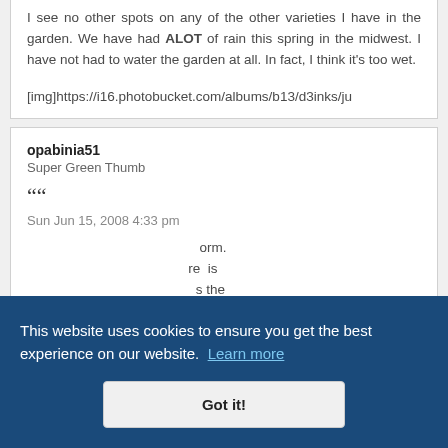I see no other spots on any of the other varieties I have in the garden. We have had ALOT of rain this spring in the midwest. I have not had to water the garden at all. In fact, I think it's too wet.

[img]https://i16.photobucket.com/albums/b13/d3inks/ju
opabinia51
Super Green Thumb
““
Sun Jun 15, 2008 4:33 pm
...orm. ...re is ...s the
This website uses cookies to ensure you get the best experience on our website. Learn more
Got it!